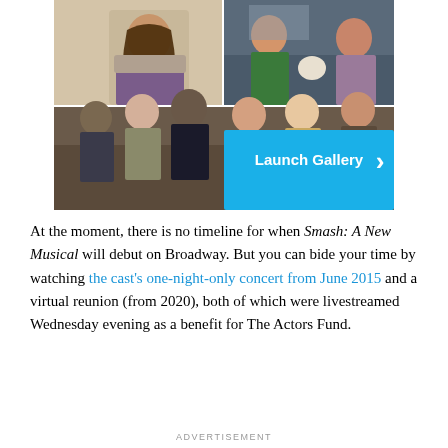[Figure (photo): A collage of TV show cast photos with a 'Launch Gallery' button overlay in bright blue with a right-arrow chevron. Top-left: a young woman with long brown hair in a gray/purple outfit against a cream background. Top-right: two men and a small dog on a couch. Bottom: a group of six people on a couch in casual poses. The Launch Gallery overlay covers the bottom-right quadrant.]
At the moment, there is no timeline for when Smash: A New Musical will debut on Broadway. But you can bide your time by watching the cast's one-night-only concert from June 2015 and a virtual reunion (from 2020), both of which were livestreamed Wednesday evening as a benefit for The Actors Fund.
ADVERTISEMENT